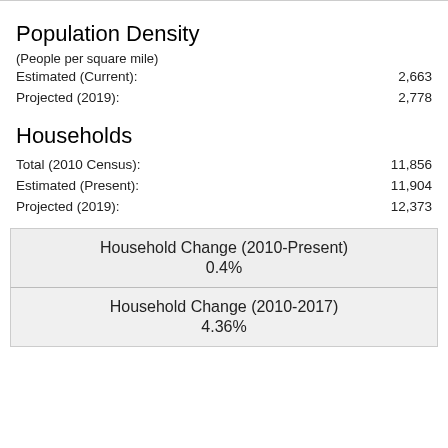Population Density
(People per square mile)
Estimated (Current): 2,663
Projected (2019): 2,778
Households
Total (2010 Census): 11,856
Estimated (Present): 11,904
Projected (2019): 12,373
| Household Change (2010-Present) | 0.4% |
| Household Change (2010-2017) | 4.36% |